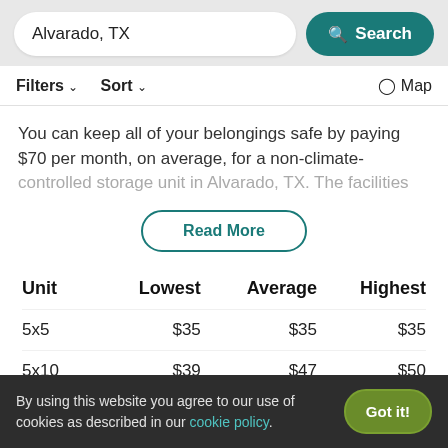Alvarado, TX  Search
Filters  Sort  Map
You can keep all of your belongings safe by paying $70 per month, on average, for a non-climate-controlled storage unit in Alvarado, TX. The facilities
Read More
| Unit | Lowest | Average | Highest |
| --- | --- | --- | --- |
| 5x5 | $35 | $35 | $35 |
| 5x10 | $39 | $47 | $50 |
| 10x10 | $60 | $70 | $80 |
By using this website you agree to our use of cookies as described in our cookie policy. Got it!